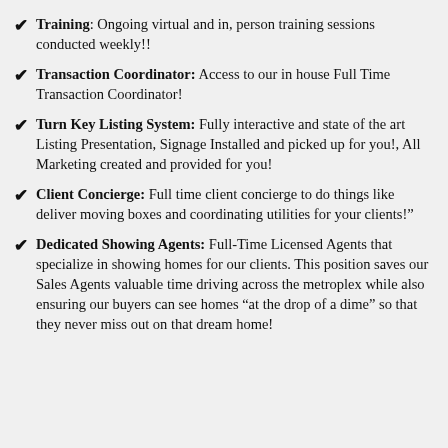Training: Ongoing virtual and in, person training sessions conducted weekly!!
Transaction Coordinator: Access to our in house Full Time Transaction Coordinator!
Turn Key Listing System: Fully interactive and state of the art Listing Presentation, Signage Installed and picked up for you!, All Marketing created and provided for you!
Client Concierge: Full time client concierge to do things like deliver moving boxes and coordinating utilities for your clients!"
Dedicated Showing Agents: Full-Time Licensed Agents that specialize in showing homes for our clients. This position saves our Sales Agents valuable time driving across the metroplex while also ensuring our buyers can see homes "at the drop of a dime" so that they never miss out on that dream home!